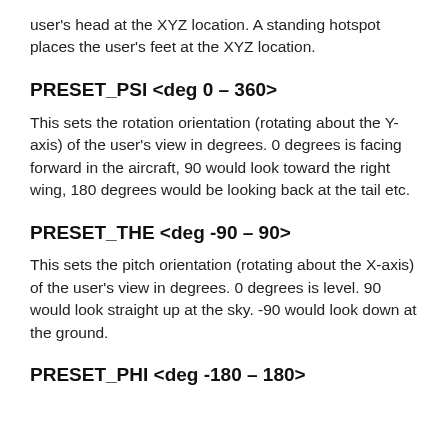user's head at the XYZ location. A standing hotspot places the user's feet at the XYZ location.
PRESET_PSI <deg 0 – 360>
This sets the rotation orientation (rotating about the Y-axis) of the user's view in degrees. 0 degrees is facing forward in the aircraft, 90 would look toward the right wing, 180 degrees would be looking back at the tail etc.
PRESET_THE <deg -90 – 90>
This sets the pitch orientation (rotating about the X-axis) of the user's view in degrees. 0 degrees is level. 90 would look straight up at the sky. -90 would look down at the ground.
PRESET_PHI <deg -180 – 180>